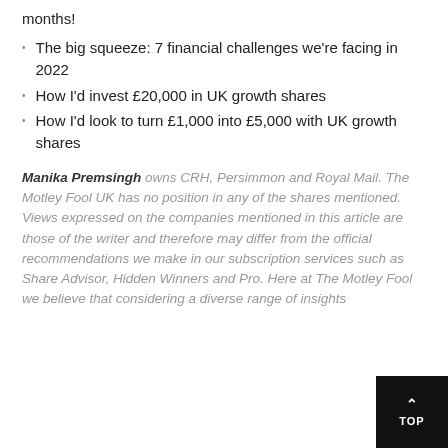months!
The big squeeze: 7 financial challenges we're facing in 2022
How I'd invest £20,000 in UK growth shares
How I'd look to turn £1,000 into £5,000 with UK growth shares
Manika Premsingh owns CRH, Persimmon and Royal Mail. The Motley Fool UK has no position in any of the shares mentioned. Views expressed on the companies mentioned in this article are those of the writer and therefore may differ from the official recommendations we make in our subscription services such as Share Advisor, Hidden Winners and Pro. Here at The Motley Fool we believe that considering a diverse range of insights